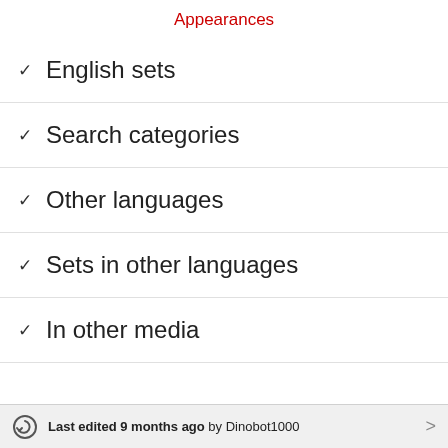Appearances
English sets
Search categories
Other languages
Sets in other languages
In other media
Last edited 9 months ago by Dinobot1000